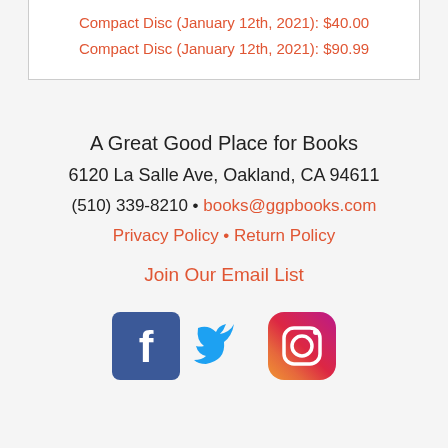Compact Disc (January 12th, 2021): $40.00
Compact Disc (January 12th, 2021): $90.99
A Great Good Place for Books
6120 La Salle Ave, Oakland, CA 94611
(510) 339-8210 • books@ggpbooks.com
Privacy Policy • Return Policy
Join Our Email List
[Figure (other): Social media icons: Facebook, Twitter, Instagram]